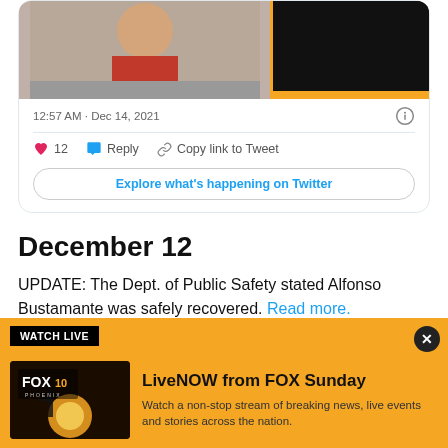[Figure (screenshot): Tweet card showing two images: a child in red shirt on the left, and a dark/orange banner image on the right]
12:57 AM · Dec 14, 2021
12   Reply   Copy link to Tweet
Explore what's happening on Twitter
December 12
UPDATE: The Dept. of Public Safety stated Alfonso Bustamante was safely recovered. Read more.
[Figure (screenshot): Fox 10 Phoenix LiveNOW ad banner with yellow background. Shows WATCH LIVE label, Fox 10 Phoenix thumbnail, and text: LiveNOW from FOX Sunday - Watch a non-stop stream of breaking news, live events and stories across the nation.]